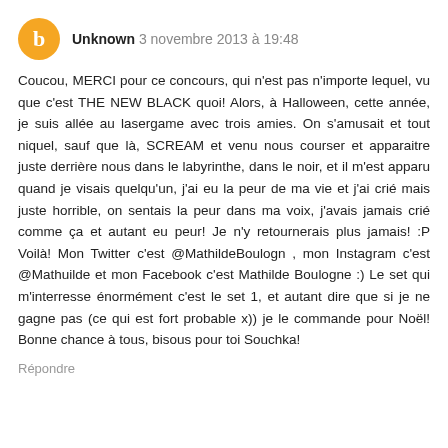Unknown 3 novembre 2013 à 19:48
Coucou, MERCI pour ce concours, qui n'est pas n'importe lequel, vu que c'est THE NEW BLACK quoi! Alors, à Halloween, cette année, je suis allée au lasergame avec trois amies. On s'amusait et tout niquel, sauf que là, SCREAM et venu nous courser et apparaitre juste derrière nous dans le labyrinthe, dans le noir, et il m'est apparu quand je visais quelqu'un, j'ai eu la peur de ma vie et j'ai crié mais juste horrible, on sentais la peur dans ma voix, j'avais jamais crié comme ça et autant eu peur! Je n'y retournerais plus jamais! :P Voilà! Mon Twitter c'est @MathildeBoulogn , mon Instagram c'est @Mathuilde et mon Facebook c'est Mathilde Boulogne :) Le set qui m'interresse énormément c'est le set 1, et autant dire que si je ne gagne pas (ce qui est fort probable x)) je le commande pour Noël! Bonne chance à tous, bisous pour toi Souchka!
Répondre